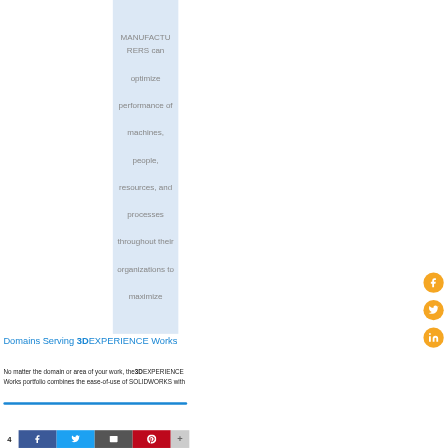MANUFACTURERS can optimize performance of machines, people, resources, and processes throughout their organizations to maximize
[Figure (other): Three orange circular social media icons (Facebook, Twitter, LinkedIn) on the right side of the page]
Domains Serving 3DEXPERIENCE Works
No matter the domain or area of your work, the 3DEXPERIENCE Works portfolio combines the ease-of-use of SOLIDWORKS with
4